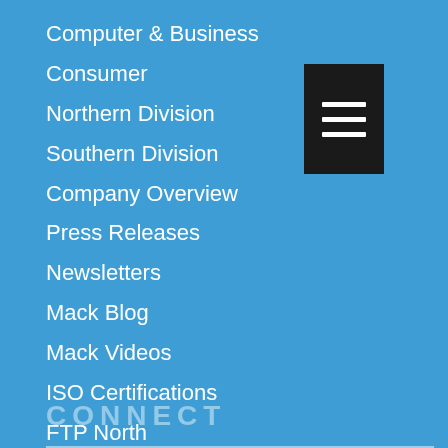Computer & Business
Consumer
Northern Division
Southern Division
Company Overview
Press Releases
Newsletters
Mack Blog
Mack Videos
ISO Certifications
FTP North
FTP South
Home
Contact
[Figure (other): Hamburger menu icon — three white horizontal lines on a black square background]
CONNECT